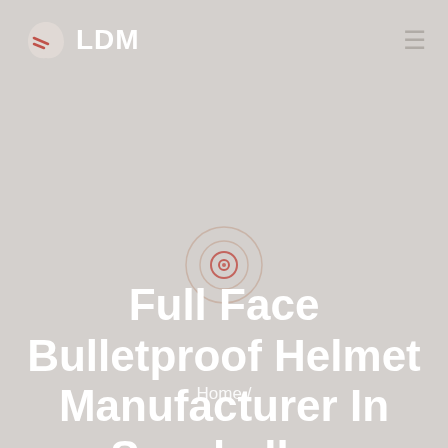LDM
[Figure (illustration): Decorative target/crosshair concentric circles icon in muted rose and beige tones]
Full Face Bulletproof Helmet Manufacturer In Seychelles
Home /